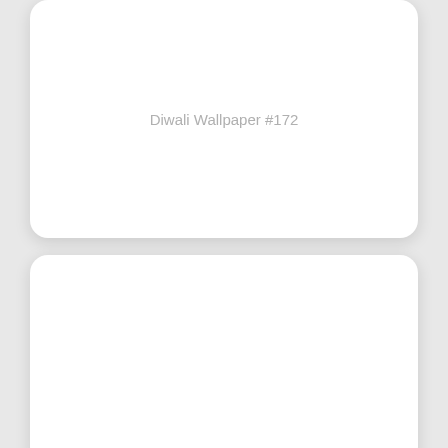[Figure (other): White rounded card with placeholder text 'Diwali Wallpaper #172' in light gray]
[Figure (other): White rounded card, blank/empty placeholder card below the first]